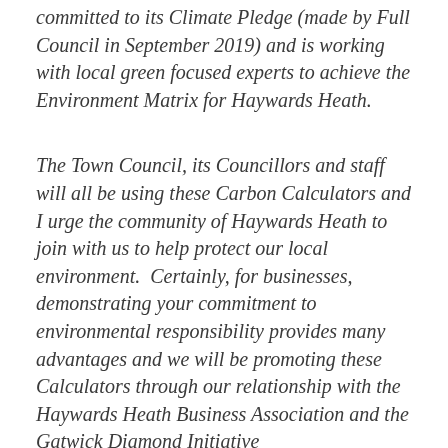committed to its Climate Pledge (made by Full Council in September 2019) and is working with local green focused experts to achieve the Environment Matrix for Haywards Heath.
The Town Council, its Councillors and staff will all be using these Carbon Calculators and I urge the community of Haywards Heath to join with us to help protect our local environment.  Certainly, for businesses, demonstrating your commitment to environmental responsibility provides many advantages and we will be promoting these Calculators through our relationship with the Haywards Heath Business Association and the Gatwick Diamond Initiative.